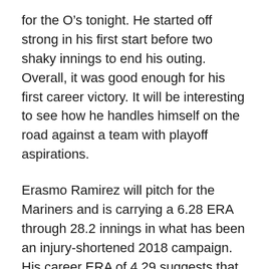for the O's tonight. He started off strong in his first start before two shaky innings to end his outing. Overall, it was good enough for his first career victory. It will be interesting to see how he handles himself on the road against a team with playoff aspirations.
Erasmo Ramirez will pitch for the Mariners and is carrying a 6.28 ERA through 28.2 innings in what has been an injury-shortened 2018 campaign. His career ERA of 4.29 suggests that he's better than he's shown this year. He got rocked in his last start, only his sixth of the season, to the tune of seven runs allowed in three innings.